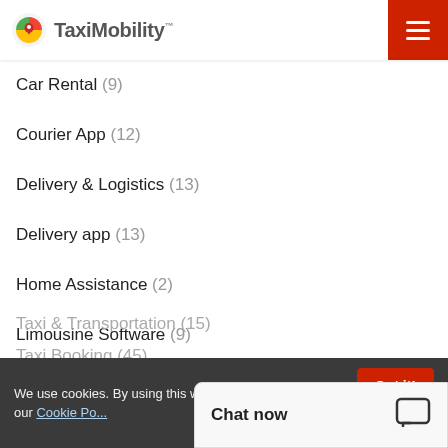TaxiMobility
Car Rental (9)
Courier App (12)
Delivery & Logistics (13)
Delivery app (13)
Home Assistance (2)
Limousine Software (9)
Medical Assistance (3)
On-demand Economy (13)
Paratransit Software (12)
Road side Assistance (14)
Taxi & Transportation (15)
Taxi Booking (45)
We use cookies. By using this website, you consent to our Cookie Policy